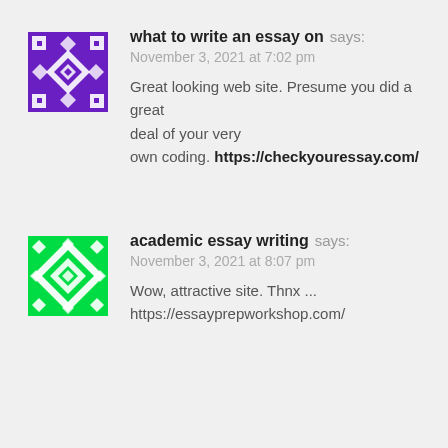[Figure (illustration): Purple geometric avatar with diamond/square pattern]
what to write an essay on says:
November 3, 2021 at 7:02 pm
Great looking web site. Presume you did a great deal of your very own coding. https://checkyouressay.com/
[Figure (illustration): Green geometric avatar with diamond/square pattern]
academic essay writing says:
November 3, 2021 at 8:07 pm
Wow, attractive site. Thnx ...
https://essayprepworkshop.com/